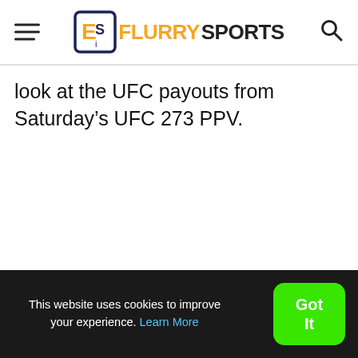FlurrySports
look at the UFC payouts from Saturday’s UFC 273 PPV.
This website uses cookies to improve your experience. Learn More